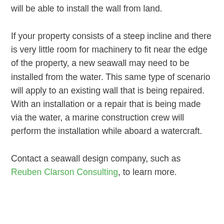will be able to install the wall from land.
If your property consists of a steep incline and there is very little room for machinery to fit near the edge of the property, a new seawall may need to be installed from the water. This same type of scenario will apply to an existing wall that is being repaired. With an installation or a repair that is being made via the water, a marine construction crew will perform the installation while aboard a watercraft.
Contact a seawall design company, such as Reuben Clarson Consulting, to learn more.